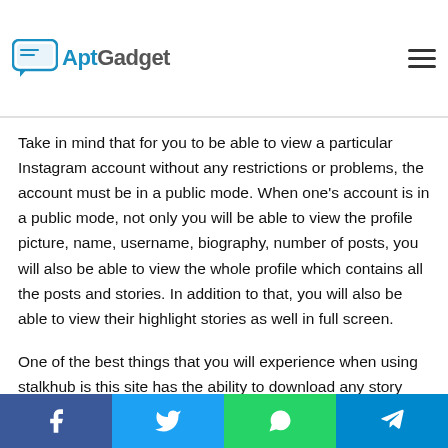AptGadget
Take in mind that for you to be able to view a particular Instagram account without any restrictions or problems, the account must be in a public mode. When one's account is in a public mode, not only you will be able to view the profile picture, name, username, biography, number of posts, you will also be able to view the whole profile which contains all the posts and stories. In addition to that, you will also be able to view their highlight stories as well in full screen.
One of the best things that you will experience when using stalkhub is this site has the ability to download any story into your device. All you have to do is tap the download button found on the top right part. If you are using an iOS device, you
Facebook Twitter WhatsApp Telegram